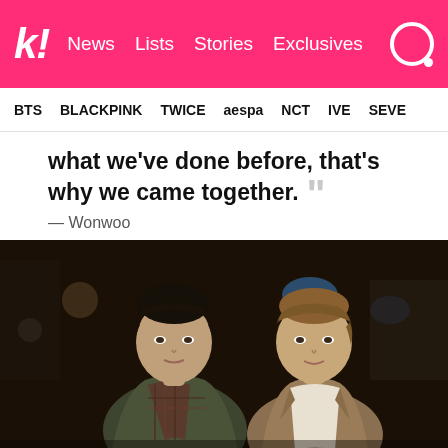k! News  Lists  Stories  Exclusives
BTS  BLACKPINK  TWICE  aespa  NCT  IVE  SEVE
what we've done before, that's why we came together. — Wonwoo
[Figure (photo): Two male K-pop artists standing outdoors at night, one with dark hair wearing a plaid shirt under an olive jacket, the other with light brown hair wearing a tan blazer over a white shirt.]